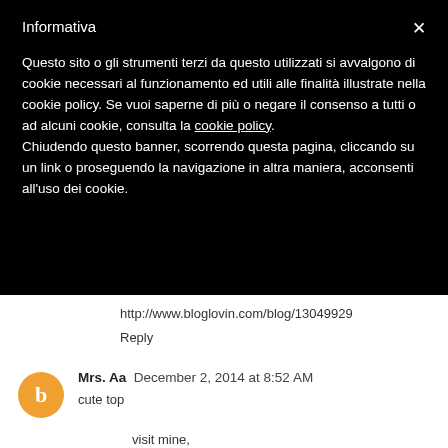Informativa
Questo sito o gli strumenti terzi da questo utilizzati si avvalgono di cookie necessari al funzionamento ed utili alle finalità illustrate nella cookie policy. Se vuoi saperne di più o negare il consenso a tutti o ad alcuni cookie, consulta la cookie policy.
Chiudendo questo banner, scorrendo questa pagina, cliccando su un link o proseguendo la navigazione in altra maniera, acconsenti all'uso dei cookie.
http://www.bloglovin.com/blog/13049929
Reply
Mrs. Aa  December 2, 2014 at 8:52 AM
cute top
visit mine,